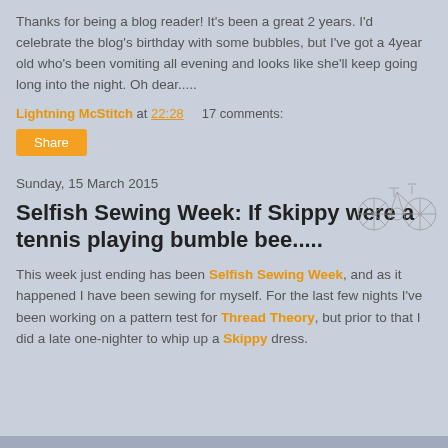Thanks for being a blog reader! It's been a great 2 years. I'd celebrate the blog's birthday with some bubbles, but I've got a 4year old who's been vomiting all evening and looks like she'll keep going long into the night. Oh dear.....
Lightning McStitch at 22:28    17 comments:
Share
Sunday, 15 March 2015
[Figure (illustration): Sketch of a bicycle in light grey lines]
Selfish Sewing Week: If Skippy were a tennis playing bumble bee.....
This week just ending has been Selfish Sewing Week, and as it happened I have been sewing for myself. For the last few nights I've been working on a pattern test for Thread Theory, but prior to that I did a late one-nighter to whip up a Skippy dress.